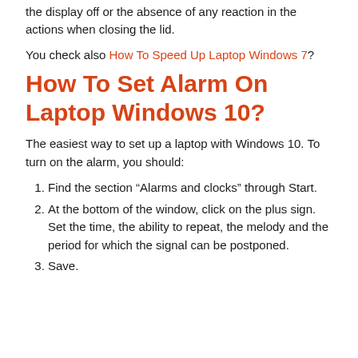the display off or the absence of any reaction in the actions when closing the lid.
You check also How To Speed Up Laptop Windows 7?
How To Set Alarm On Laptop Windows 10?
The easiest way to set up a laptop with Windows 10. To turn on the alarm, you should:
Find the section “Alarms and clocks” through Start.
At the bottom of the window, click on the plus sign. Set the time, the ability to repeat, the melody and the period for which the signal can be postponed.
Save.